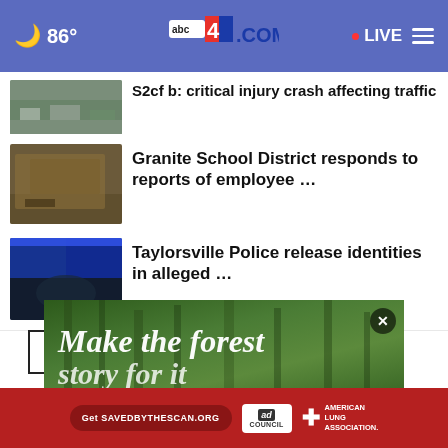86° | abc4.com | LIVE
S2cf b: critical injury crash affecting traffic
Granite School District responds to reports of employee …
Taylorsville Police release identities in alleged …
More Stories ›
[Figure (photo): Forest advertisement banner: Make the forest story for it — campaign for savedbythescan.org by American Lung Association and Ad Council]